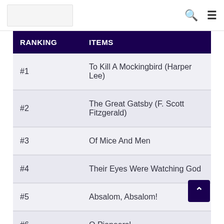| RANKING | ITEMS |
| --- | --- |
| #1 | To Kill A Mockingbird (Harper Lee) |
| #2 | The Great Gatsby (F. Scott Fitzgerald) |
| #3 | Of Mice And Men |
| #4 | Their Eyes Were Watching God |
| #5 | Absalom, Absalom! |
| #6 | O Pioneers! |